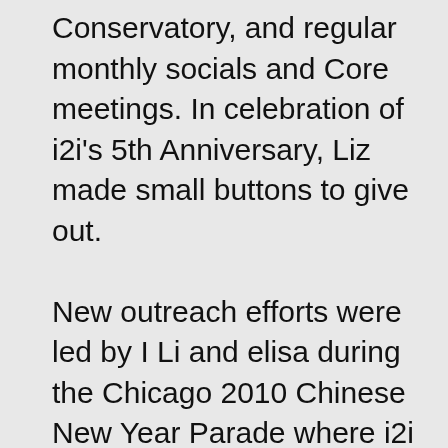Conservatory, and regular monthly socials and Core meetings. In celebration of i2i's 5th Anniversary, Liz made small buttons to give out.

New outreach efforts were led by I Li and elisa during the Chicago 2010 Chinese New Year Parade where i2i postcards were distributed. A day long retreat was lead by elisa at her house. The retreat focused on power, privilege, and looking ahead for i2i. Members continued to march in the